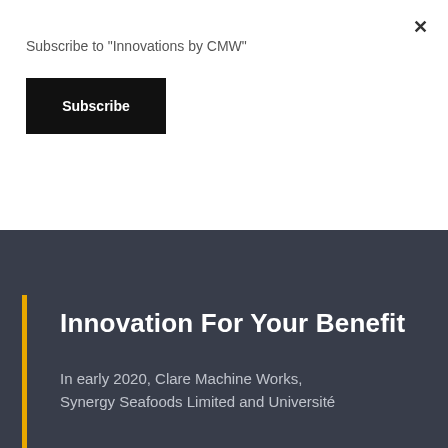Subscribe to "Innovations by CMW"
Subscribe
another.
food chain.
Innovation For Your Benefit
In early 2020, Clare Machine Works, Synergy Seafoods Limited and Université